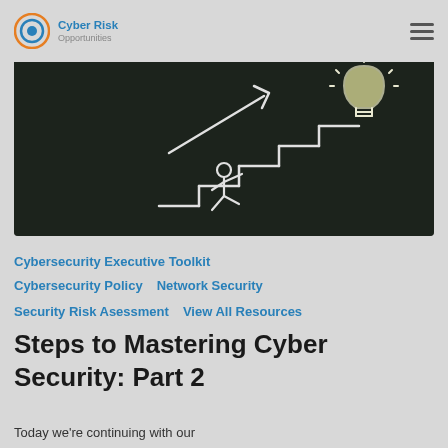Cyber Risk Opportunities
[Figure (photo): Chalkboard drawing of a stick figure climbing stairs toward a lightbulb, with an upward arrow, representing steps to mastering cybersecurity.]
Cybersecurity Executive Toolkit
Cybersecurity Policy   Network Security
Security Risk Asessment   View All Resources
Steps to Mastering Cyber Security: Part 2
Today we're continuing with our